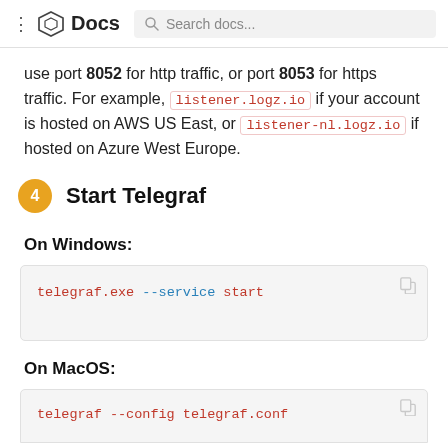Docs  Search docs...
use port 8052 for http traffic, or port 8053 for https traffic. For example, listener.logz.io if your account is hosted on AWS US East, or listener-nl.logz.io if hosted on Azure West Europe.
4  Start Telegraf
On Windows:
On MacOS: